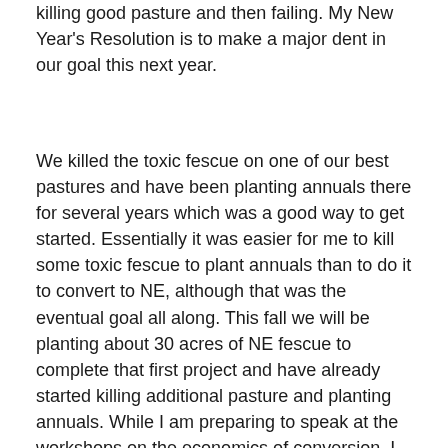killing good pasture and then failing. My New Year's Resolution is to make a major dent in our goal this next year.
We killed the toxic fescue on one of our best pastures and have been planting annuals there for several years which was a good way to get started. Essentially it was easier for me to kill some toxic fescue to plant annuals than to do it to convert to NE, although that was the eventual goal all along. This fall we will be planting about 30 acres of NE fescue to complete that first project and have already started killing additional pasture and planting annuals. While I am preparing to speak at the workshops on the economics of conversion, I also really look forward to getting the most up to date information so that I am confident